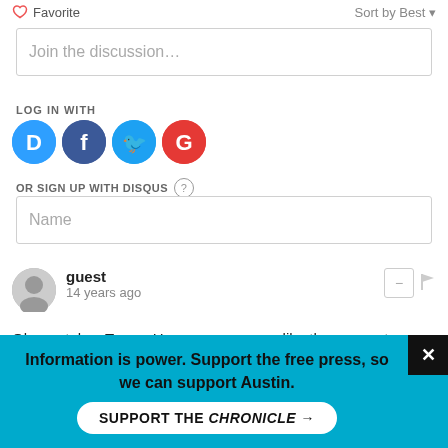Favorite
Sort by Best
Join the discussion…
LOG IN WITH
[Figure (infographic): Social login icons: Disqus (blue speech bubble with D), Facebook (dark blue circle with f), Twitter (light blue circle with bird), Google (red circle with G)]
OR SIGN UP WITH DISQUS
Name
guest
14 years ago
Obama takes Texas: Hmmmmm, seems like the momentum given to Senator Clinton after only the Tx primary was announced was just a little early. In June, if this uneccessary race continues, Obama really needs to have an ad frenzy with
Information is power. Support the free press, so we can support Austin.
SUPPORT THE CHRONICLE →